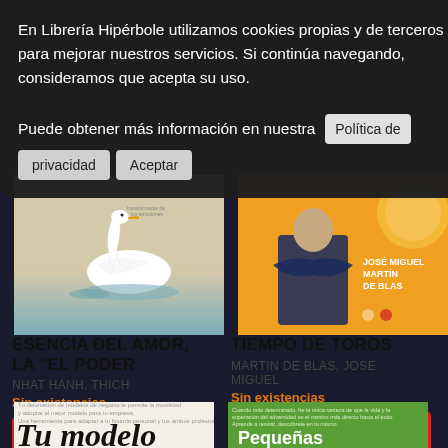En Librería Hipérbole utilizamos cookies propias y de terceros para mejorar nuestros servicios. Si continúa navegando, consideramos que acepta su uso.
Puede obtener más información en nuestra
Política de privacidad
Aceptar
[Figure (illustration): Book cover showing a white swan on water with beige/tan background]
[Figure (photo): Book cover with orange/yellow background showing a man in a dark suit with arms crossed, text JOSÉ MIGUEL MARTÍN DE BLAS]
ESENCIA DEL AMOR, LA "EL PODER
NHAT HANH, THICH
Sin existencias
10.90€
TIEMPO DE TOROS
MARTIN DE BLAS, JOSE MIGUEL
Sin existencias
19.90€
[Figure (illustration): Partial view of book cover with white/cream background and italic text 'Tu modelo']
[Figure (illustration): Partial view of book cover with green background and text 'Pequeñas']